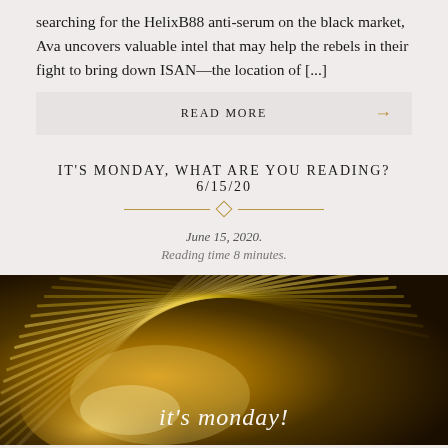searching for the HelixB88 anti-serum on the black market, Ava uncovers valuable intel that may help the rebels in their fight to bring down ISAN—the location of [...]
READ MORE →
IT'S MONDAY, WHAT ARE YOU READING? 6/15/20
June 15, 2020.
Reading time 8 minutes.
[Figure (photo): Open book with fanned pages glowing with golden light, with cursive text 'it's monday!' overlaid at the bottom]